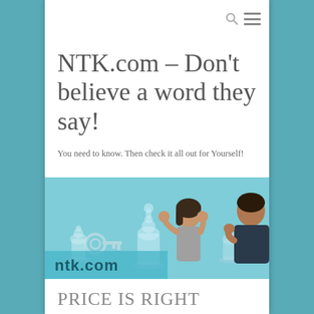NTK.com – Don't believe a word they say!
You need to know. Then check it all out for Yourself!
[Figure (photo): NTK.com banner image showing chess pieces, a woman with head in hands, a man thinking, and a key graphic with 'ntk.com' text overlay on a teal/blue background]
PRICE IS RIGHT